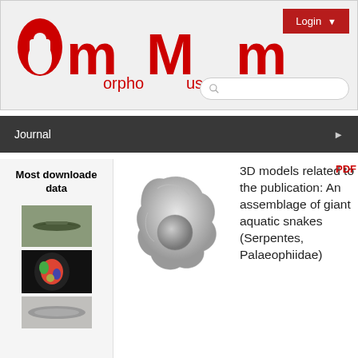[Figure (logo): MorphoMuseum website header with red stylized logo icons and red text 'morphoMuseum', Login button top right, search bar bottom right]
Journal
Most downloaded data
[Figure (photo): 3D model of a bone specimen, gray-white]
[Figure (photo): Small thumbnail of an airplane silhouette]
[Figure (photo): Small thumbnail of a colorful brain/skull scan]
[Figure (photo): Small thumbnail of a fossil or bone fragment]
3D models related to the publication: An assemblage of giant aquatic snakes (Serpentes, Palaeophiidae)
PDF